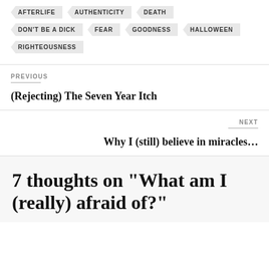AFTERLIFE
AUTHENTICITY
DEATH
DON'T BE A DICK
FEAR
GOODNESS
HALLOWEEN
RIGHTEOUSNESS
PREVIOUS
(Rejecting) The Seven Year Itch
NEXT
Why I (still) believe in miracles…
7 thoughts on “What am I (really) afraid of?”